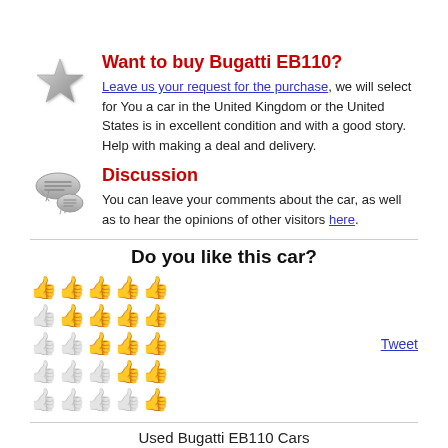Want to buy Bugatti EB110?
Leave us your request for the purchase, we will select for You a car in the United Kingdom or the United States is in excellent condition and with a good story. Help with making a deal and delivery.
Discussion
You can leave your comments about the car, as well as to hear the opinions of other visitors here.
Do you like this car?
[Figure (other): Rating thumbs up grid (5 rows x 5 columns of thumbs up icons, gold and gray indicating rating levels) with Tweet link]
Used Bugatti EB110 Cars
Current rating: 👍👍👍👍👍 (3.4789297658863) based on 602 votes